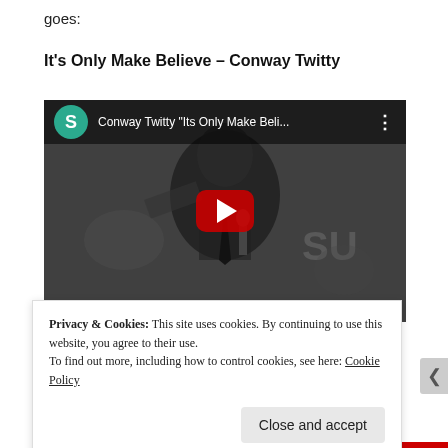goes:
It’s Only Make Believe – Conway Twitty
[Figure (screenshot): YouTube video embed showing Conway Twitty performing, black and white footage. Video title: Conway Twitty "Its Only Make Beli..." with a teal S avatar icon, three-dot menu, and red YouTube play button in the center.]
Privacy & Cookies: This site uses cookies. By continuing to use this website, you agree to their use.
To find out more, including how to control cookies, see here: Cookie Policy
Close and accept